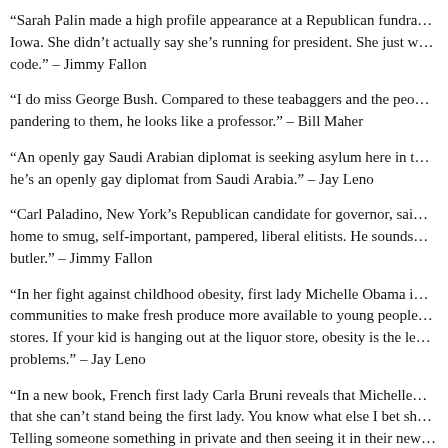“Sarah Palin made a high profile appearance at a Republican fundra… Iowa. She didn’t actually say she’s running for president. She just w… code.” – Jimmy Fallon
“I do miss George Bush. Compared to these teabaggers and the peo… pandering to them, he looks like a professor.” – Bill Maher
“An openly gay Saudi Arabian diplomat is seeking asylum here in t… he’s an openly gay diplomat from Saudi Arabia.” – Jay Leno
“Carl Paladino, New York’s Republican candidate for governor, sai… home to smug, self-important, pampered, liberal elitists. He sounds… butler.” – Jimmy Fallon
“In her fight against childhood obesity, first lady Michelle Obama i… communities to make fresh produce more available to young people… stores. If your kid is hanging out at the liquor store, obesity is the le… problems.” – Jay Leno
“In a new book, French first lady Carla Bruni reveals that Michelle… that she can’t stand being the first lady. You know what else I bet sh… Telling someone something in private and then seeing it in their new…